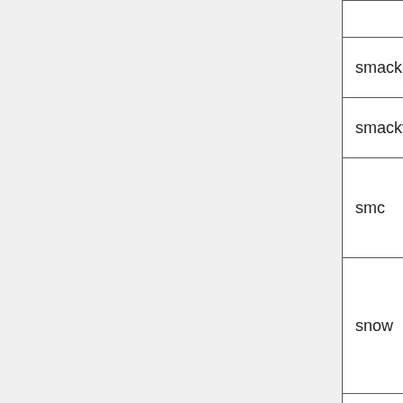|  |  |
| --- | --- |
| smackaud | Smacker audio |
| smackvid | Smacker video |
| smc | QuickTime Graphics (SMC) |
| snow | Snow |
| sol_dpcm | DPCM Sol |
| sonic | Sonic |
| sonicls | Sonic lossless |
| sp5x | Sunplus JPEG (SP... |